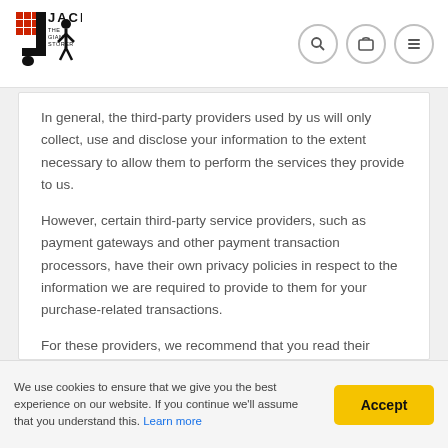Jack The Giant Storer
In general, the third-party providers used by us will only collect, use and disclose your information to the extent necessary to allow them to perform the services they provide to us.
However, certain third-party service providers, such as payment gateways and other payment transaction processors, have their own privacy policies in respect to the information we are required to provide to them for your purchase-related transactions.
For these providers, we recommend that you read their privacy policies so you can understand the manner in which your personal information will be
We use cookies to ensure that we give you the best experience on our website. If you continue we'll assume that you understand this. Learn more  Accept